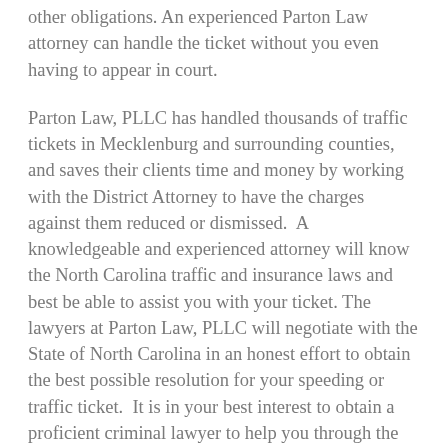other obligations. An experienced Parton Law attorney can handle the ticket without you even having to appear in court.
Parton Law, PLLC has handled thousands of traffic tickets in Mecklenburg and surrounding counties, and saves their clients time and money by working with the District Attorney to have the charges against them reduced or dismissed.  A knowledgeable and experienced attorney will know the North Carolina traffic and insurance laws and best be able to assist you with your ticket. The lawyers at Parton Law, PLLC will negotiate with the State of North Carolina in an honest effort to obtain the best possible resolution for your speeding or traffic ticket.  It is in your best interest to obtain a proficient criminal lawyer to help you through the legal process.
In North Carolina, simply just paying the fine is